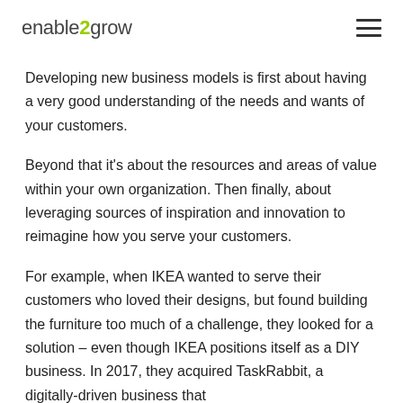enable2grow
Developing new business models is first about having a very good understanding of the needs and wants of your customers.
Beyond that it's about the resources and areas of value within your own organization. Then finally, about leveraging sources of inspiration and innovation to reimagine how you serve your customers.
For example, when IKEA wanted to serve their customers who loved their designs, but found building the furniture too much of a challenge, they looked for a solution – even though IKEA positions itself as a DIY business. In 2017, they acquired TaskRabbit, a digitally-driven business that